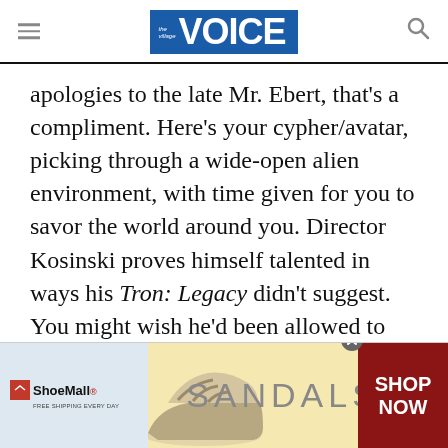the village VOICE
apologies to the late Mr. Ebert, that’s a compliment. Here’s your cypher/avatar, picking through a wide-open alien environment, with time given for you to savor the world around you. Director Kosinski proves himself talented in ways his Tron: Legacy didn’t suggest. You might wish he’d been allowed to indulge in longer, prouder shots of his wonders, la the Kubrick he seems to admire.
But Cruise is contractually required to sprint, and
[Figure (other): ShoeMall advertisement banner with a sandal/wedge shoe image, text SANDALS, and SHOP NOW call to action button]